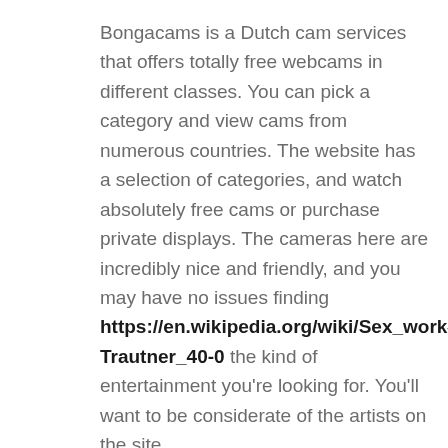Bongacams is a Dutch cam services that offers totally free webcams in different classes. You can pick a category and view cams from numerous countries. The website has a selection of categories, and watch absolutely free cams or purchase private displays. The cameras here are incredibly nice and friendly, and you may have no issues finding https://en.wikipedia.org/wiki/Sex_work#cite_ref-Trautner_40-0 the kind of entertainment you're looking for. You'll want to be considerate of the artists on the site.
The best webcam sites as well allow you to browse a huge selection of different models.